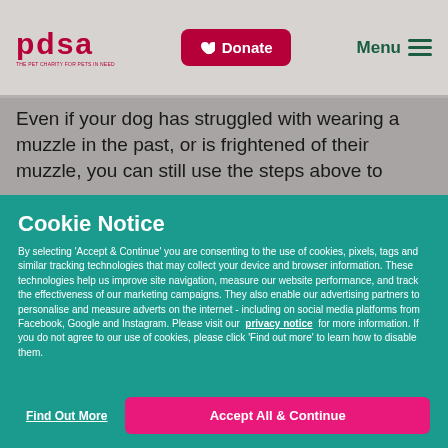pdsa — THE PET CHARITY FOR PETS IN NEED | Donate | Menu
Even if your dog has struggled with wearing a muzzle in the past, or is frightened of their muzzle, you can still use the steps above to
Cookie Notice
By selecting 'Accept & Continue' you are consenting to the use of cookies, pixels, tags and similar tracking technologies that may collect your device and browser information. These technologies help us improve site navigation, measure our website performance, and track the effectiveness of our marketing campaigns. They also enable our advertising partners to personalise and measure adverts on the internet - including on social media platforms from Facebook, Google and Instagram. Please visit our privacy notice for more information. If you do not agree to our use of cookies, please click 'Find out more' to learn how to disable them.
Find Out More
Accept All & Continue